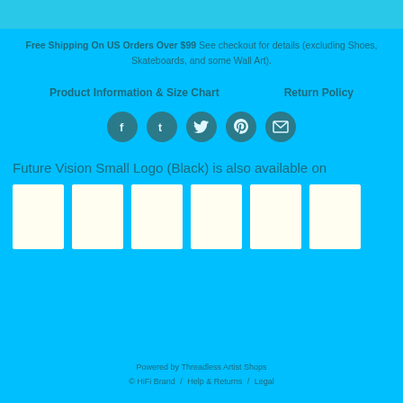Free Shipping On US Orders Over $99 See checkout for details (excluding Shoes, Skateboards, and some Wall Art).
Product Information & Size Chart   Return Policy
[Figure (other): Row of 5 circular dark teal social media icon buttons: Facebook, Tumblr, Twitter, Pinterest, Email/Envelope]
Future Vision Small Logo (Black) is also available on
[Figure (other): Six white/cream rectangular product thumbnail placeholders in a row]
Powered by Threadless Artist Shops
© HiFi Brand / Help & Returns / Legal